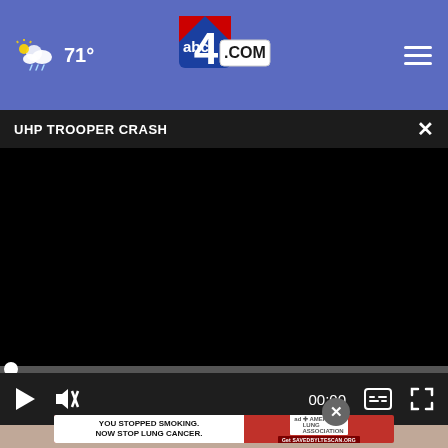abc4.com — 71° weather — navigation header
UHP TROOPER CRASH
[Figure (screenshot): Black video player area showing a paused or loading video]
[Figure (screenshot): Video player controls: play button, mute button, 00:00 timestamp, captions button, fullscreen button]
[Figure (photo): Partial view of a person (woman) from below the chin, blurred background]
[Figure (infographic): Advertisement: YOU STOPPED SMOKING. NOW STOP LUNG CANCER. — American Lung Association — Get SAVEDBYLTESCAN.ORG]